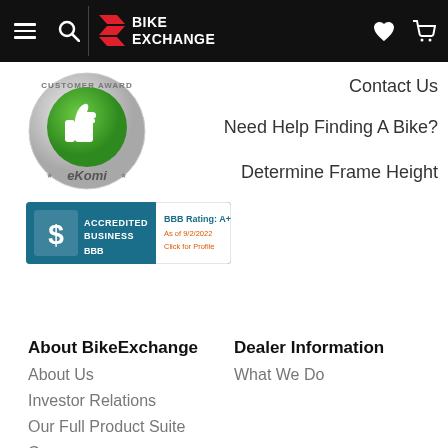BikeExchange navigation bar with menu, search, logo, wishlist and cart icons
[Figure (logo): eKomi Customer Award badge — circular silver badge with green thumbs-up center and 'eKomi' text]
[Figure (logo): BBB Accredited Business badge — teal background with dollar sign, 'ACCREDITED BUSINESS', 'BBB Rating: A+', 'As of 9/2/2022', 'Click for Profile']
Contact Us
Need Help Finding A Bike?
Determine Frame Height
About BikeExchange
About Us
Investor Relations
Our Full Product Suite
Careers
Dealer Information
What We Do